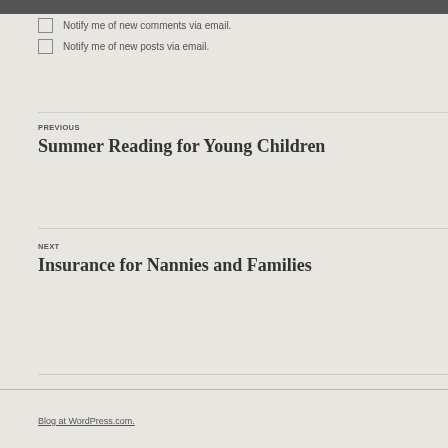Notify me of new comments via email.
Notify me of new posts via email.
PREVIOUS
Summer Reading for Young Children
NEXT
Insurance for Nannies and Families
Blog at WordPress.com.